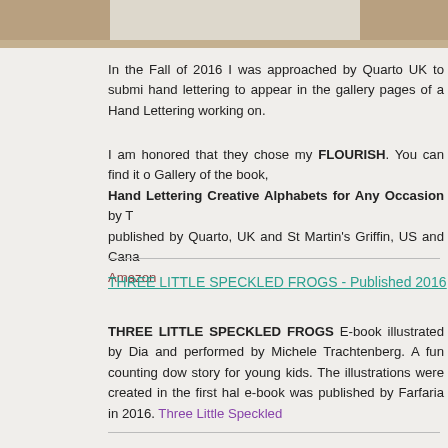[Figure (photo): Top portion of a photo showing a book or object on a wooden surface, partially cropped]
In the Fall of 2016 I was approached by Quarto UK to submit hand lettering to appear in the gallery pages of a Hand Lettering working on.
I am honored that they chose my FLOURISH. You can find it on the Gallery of the book, Hand Lettering Creative Alphabets for Any Occasion by T... published by Quarto, UK and St Martin's Griffin, US and Cana... Amazon
THREE LITTLE SPECKLED FROGS - Published 2016
THREE LITTLE SPECKLED FROGS E-book illustrated by Dia... and performed by Michele Trachtenberg. A fun counting dow... story for young kids. The illustrations were created in the first hal... e-book was published by Farfaria in 2016. Three Little Speckled...